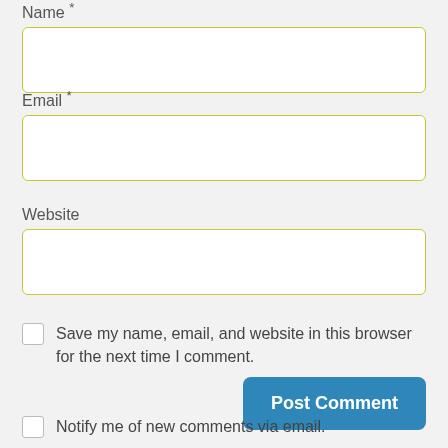Name *
Email *
Website
Save my name, email, and website in this browser for the next time I comment.
Post Comment
Notify me of new comments via email.